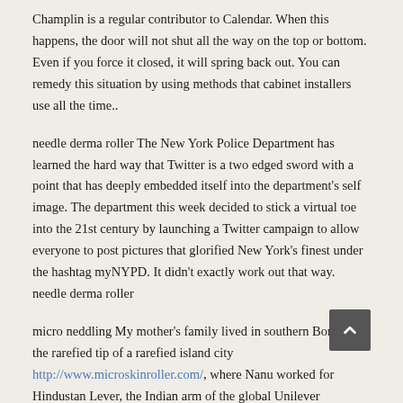Champlin is a regular contributor to Calendar. When this happens, the door will not shut all the way on the top or bottom. Even if you force it closed, it will spring back out. You can remedy this situation by using methods that cabinet installers use all the time..
needle derma roller The New York Police Department has learned the hard way that Twitter is a two edged sword with a point that has deeply embedded itself into the department's self image. The department this week decided to stick a virtual toe into the 21st century by launching a Twitter campaign to allow everyone to post pictures that glorified New York's finest under the hashtag myNYPD. It didn't exactly work out that way. needle derma roller
micro neddling My mother's family lived in southern Bombay, the rarefied tip of a rarefied island city http://www.microskinroller.com/, where Nanu worked for Hindustan Lever, the Indian arm of the global Unilever enterprise. They did not feel wealthy, for few did in that age; at times, my grandmother's budgeted grocery money would